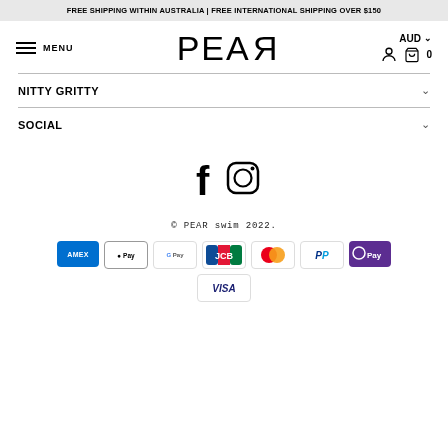FREE SHIPPING WITHIN AUSTRALIA | FREE INTERNATIONAL SHIPPING OVER $150
[Figure (screenshot): PEAR swim website navigation header with hamburger menu (MENU), PEAR logo with reversed R, AUD currency selector, user icon, and shopping bag with 0 items]
NITTY GRITTY
SOCIAL
[Figure (logo): Facebook and Instagram social media icons]
© PEAR swim 2022.
[Figure (infographic): Payment method icons: AMEX, Apple Pay, Google Pay, JCB, Mastercard, PayPal, ShopPay, Visa]